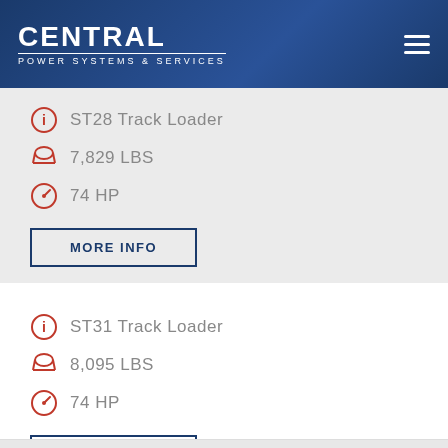CENTRAL POWER SYSTEMS & SERVICES
ST28 Track Loader
7,829 LBS
74 HP
MORE INFO
ST31 Track Loader
8,095 LBS
74 HP
MORE INFO